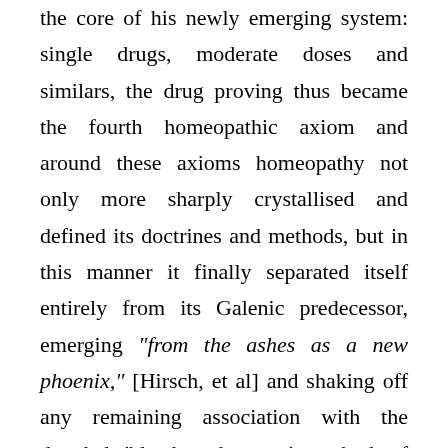the core of his newly emerging system: single drugs, moderate doses and similars, the drug proving thus became the fourth homeopathic axiom and around these axioms homeopathy not only more sharply crystallised and defined its doctrines and methods, but in this manner it finally separated itself entirely from its Galenic predecessor, emerging "from the ashes as a new phoenix," [Hirsch, et al] and shaking off any remaining association with the dreaded 'bleed and purge' method of mixed drugs in high doses that Hahnemann had so detested and which had filled him with horror even from his first medical lectures in Leipzig and Vienna, for Hahnemann was indeed, "a most